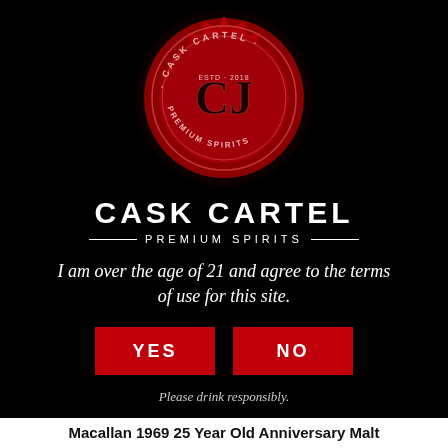[Figure (logo): Cask Cartel red wax seal logo with 'CJ' monogram, 'CASK CARTEL' text around the ring, 'ESTD 2015', and 'PREMIUM SPIRITS' on the seal]
CASK CARTEL
PREMIUM SPIRITS
I am over the age of 21 and agree to the terms of use for this site.
YES
NO
Please drink responsibly.
Macallan 1969 25 Year Old Anniversary Malt